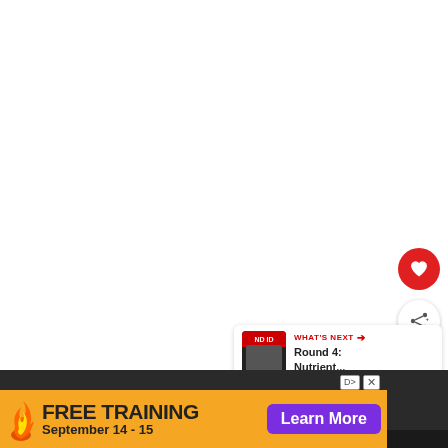[Figure (screenshot): Screenshot of a video player or article page. Upper area is white/blank. Two floating action buttons appear on the right side: a red heart/like button and a white share button with a share icon. A 'What's Next' card panel is visible in the lower right showing a thumbnail and text 'Round 4: Nutrient...' A dark photo strip runs across the bottom with a gym/training scene. An orange banner advertisement at the bottom reads 'FREE TRAINING September 14 - 15' with a 'Learn More' purple button.]